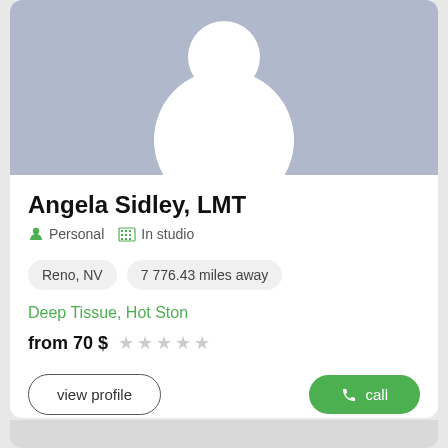[Figure (illustration): Default avatar placeholder with light blue-gray background showing silhouette of person (circular head and rounded body shape in white)]
Angela Sidley, LMT
Personal   In studio
Reno, NV   7 776.43 miles away
Deep Tissue, Hot Ston
from 70 $
view profile
call